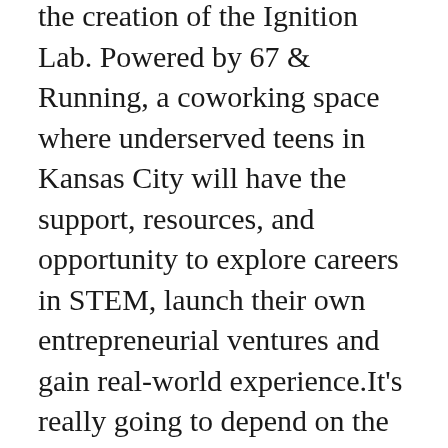the creation of the Ignition Lab. Powered by 67 & Running, a coworking space where underserved teens in Kansas City will have the support, resources, and opportunity to explore careers in STEM, launch their own entrepreneurial ventures and gain real-world experience.It's really going to depend on the hot hand early in terms of carries between Peterson and Swift as the games moves forward.
] They say spring has sprung , and while we get ready for the summer, it's time https://www.fiitg.com/collections/football start scoping out some warm weather Giants gear!So they were like these are SE Big Flyers,